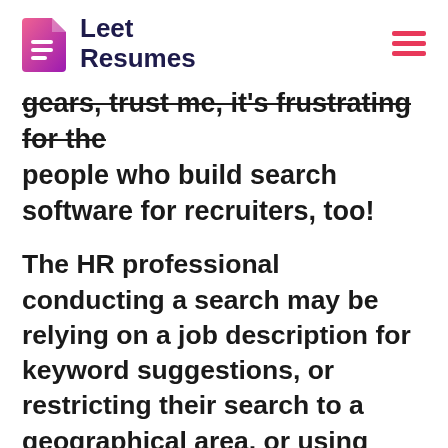Leet Resumes
gears, trust me, it's frustrating for the people who build search software for recruiters, too!
The HR professional conducting a search may be relying on a job description for keyword suggestions, or restricting their search to a geographical area, or using past experiences that have turned out well for them. But in reviewing tens of thousands of searches by recruiters and hiring managers, simple searches are